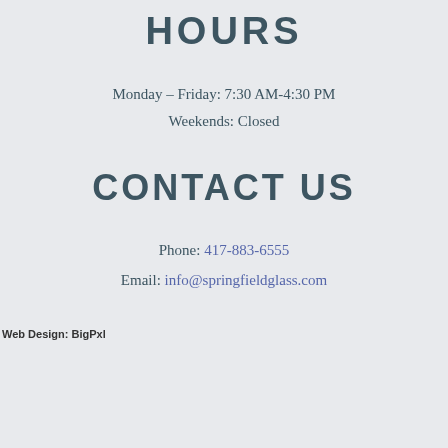HOURS
Monday – Friday: 7:30 AM-4:30 PM
Weekends: Closed
CONTACT US
Phone: 417-883-6555
Email: info@springfieldglass.com
Web Design: BigPxl